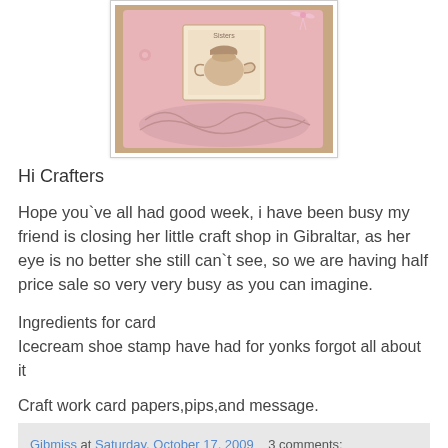[Figure (photo): A handmade greeting card with pink and gold colors, featuring a shoe/teapot ice cream stamp image, decorative swirls, and a pink ribbon at top right]
Hi Crafters
Hope you`ve all had good week, i have been busy my friend is closing her little craft shop in Gibraltar, as her eye is no better she still can`t see, so we are having half price sale so very very busy as you can imagine.
Ingredients for card
Icecream shoe stamp have had for yonks forgot all about it
Craft work card papers,pips,and message.
Gibmiss at Saturday, October 17, 2009   3 comments:
Saturday, 10 October 2009